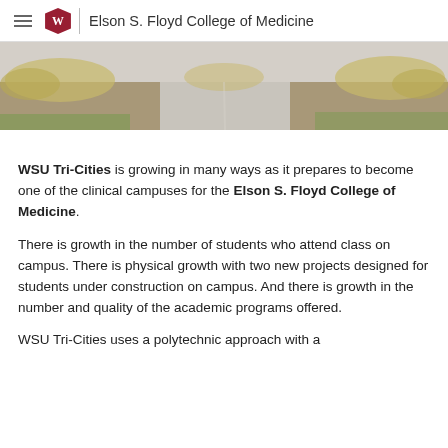Elson S. Floyd College of Medicine
[Figure (photo): Outdoor campus walkway with drought-resistant landscaping, gravel, ornamental grasses, and a concrete path under a clear sky.]
WSU Tri-Cities is growing in many ways as it prepares to become one of the clinical campuses for the Elson S. Floyd College of Medicine.
There is growth in the number of students who attend class on campus. There is physical growth with two new projects designed for students under construction on campus. And there is growth in the number and quality of the academic programs offered.
WSU Tri-Cities uses a polytechnic approach with a